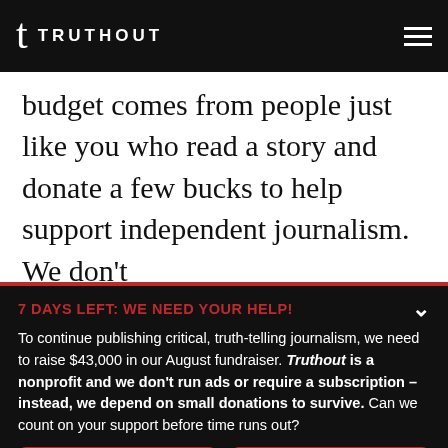TRUTHOUT
budget comes from people just like you who read a story and donate a few bucks to help support independent journalism. We don't
7 DAYS LEFT: WE NEED YOUR HELP!
To continue publishing critical, truth-telling journalism, we need to raise $43,000 in our August fundraiser. Truthout is a nonprofit and we don't run ads or require a subscription – instead, we depend on small donations to survive. Can we count on your support before time runs out?
DONATE
DONATE MONTHLY